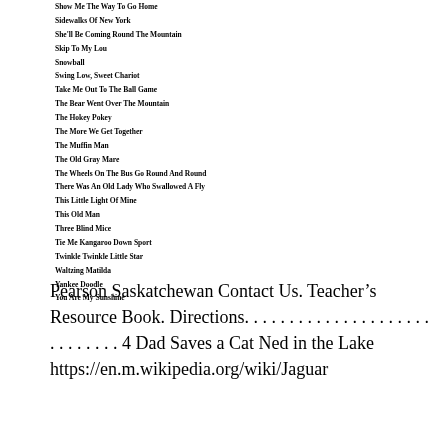Show Me The Way To Go Home
Sidewalks Of New York
She'll Be Coming Round The Mountain
Skip To My Lou
Snowball
Swing Low, Sweet Chariot
Take Me Out To The Ball Game
The Bear Went Over The Mountain
The Hokey Pokey
The More We Get Together
The Muffin Man
The Old Gray Mare
The Wheels On The Bus Go Round And Round
There Was An Old Lady Who Swallowed A Fly
This Little Light Of Mine
This Old Man
Three Blind Mice
Tie Me Kangaroo Down Sport
Twinkle Twinkle Little Star
Waltzing Matilda
Yankee Doodle
You Are My Sunshine
Pearson Saskatchewan Contact Us. Teacher’s Resource Book. Directions. . . . . . . . . . . . . . . . . . . . . . . . . . . . . 4 Dad Saves a Cat Ned in the Lake https://en.m.wikipedia.org/wiki/Jaguar